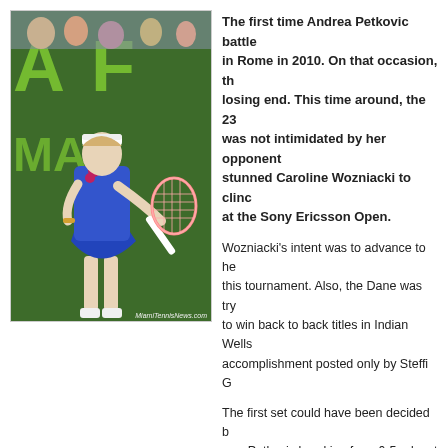[Figure (photo): Photo of Andrea Petkovic in a blue tennis dress holding a racket, at the Sony Ericsson Open. Photo credit: MiamiTennisNews.com]
The first time Andrea Petkovic battle in Rome in 2010. On that occasion, th losing end. This time around, the 23 was not intimidated by her opponent stunned Caroline Wozniacki to clinc at the Sony Ericsson Open.
Wozniacki’s intent was to advance to he this tournament. Also, the Dane was try to win back to back titles in Indian Wells accomplishment posted only by Steffi G
The first set could have been decided b was Petkovic breaking for a 6-5 advant point producing the ace to wrap it up.
In the second set, Wozniacki capitalize Petkovic dumped a forehand into the ne
Yet, when Wozniacki double faulted, Petkovic obtained triple break point. Despite gave the German one more chance which she seized. Petkovic eventually consol triple break point.
Later on, with a backhand volley, Wozniacki arrived at double break point. She co game sealed the second set.